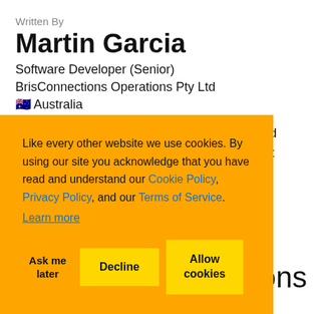Written By
Martin Garcia
Software Developer (Senior)
BrisConnections Operations Pty Ltd
🇦🇺 Australia
Senior Software Developer on Microsoft and Unix-like environments. Senior Data Analyst and Database ... and MySQL
[Figure (screenshot): Cookie consent banner overlay with orange background. Text: 'Like every other website we use cookies. By using our site you acknowledge that you have read and understand our Cookie Policy, Privacy Policy, and our Terms of Service. Learn more'. Buttons: 'Ask me later', 'Decline', 'Allow cookies'.]
ions